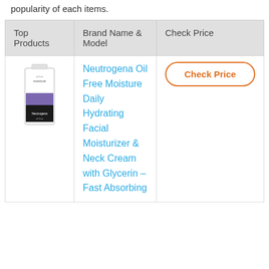popularity of each items.
| Top Products | Brand Name & Model | Check Price |
| --- | --- | --- |
| [product image] | Neutrogena Oil Free Moisture Daily Hydrating Facial Moisturizer & Neck Cream with Glycerin – Fast Absorbing | Check Price |